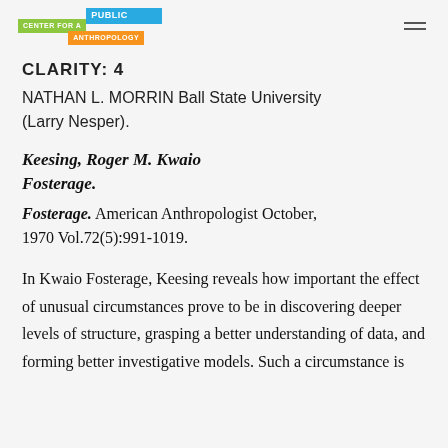Center for a Public Anthropology
CLARITY: 4
NATHAN L. MORRIN Ball State University (Larry Nesper).
Keesing, Roger M. Kwaio Fosterage.
Fosterage. American Anthropologist October, 1970 Vol.72(5):991-1019.
In Kwaio Fosterage, Keesing reveals how important the effect of unusual circumstances prove to be in discovering deeper levels of structure, grasping a better understanding of data, and forming better investigative models. Such a circumstance is